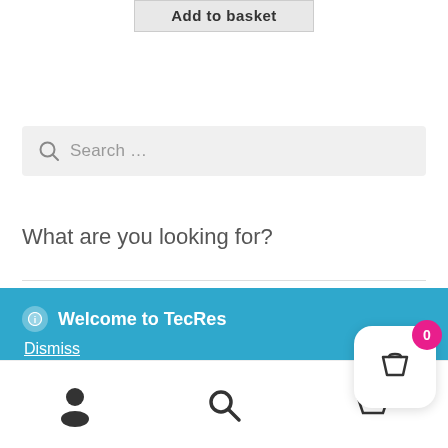[Figure (screenshot): Add to basket button (gray background)]
[Figure (screenshot): Search bar with magnifying glass icon and placeholder text 'Search ...']
What are you looking for?
ⓘ Welcome to TecRes
Dismiss
[Figure (infographic): Bottom navigation bar with user icon, search icon, basket icon, and a floating cart button with badge showing 0]